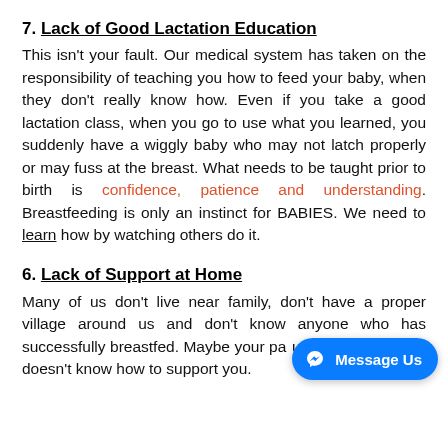7. Lack of Good Lactation Education
This isn't your fault. Our medical system has taken on the responsibility of teaching you how to feed your baby, when they don't really know how. Even if you take a good lactation class, when you go to use what you learned, you suddenly have a wiggly baby who may not latch properly or may fuss at the breast. What needs to be taught prior to birth is confidence, patience and understanding. Breastfeeding is only an instinct for BABIES. We need to learn how by watching others do it.
6. Lack of Support at Home
Many of us don't live near family, don't have a proper village around us and don't know anyone who has successfully breastfed. Maybe your pa... you to breastfeed, but doesn't know how to support you.